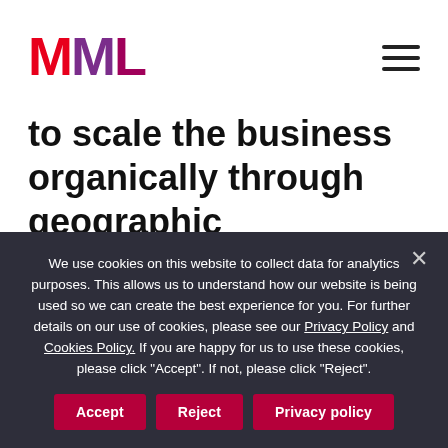MML
to scale the business organically through geographic expansion, investment in people and infrastructure and the commercialisation of other product applications. MML Ireland's local presence and partnership approach enabled us to
We use cookies on this website to collect data for analytics purposes. This allows us to understand how our website is being used so we can create the best experience for you. For further details on our use of cookies, please see our Privacy Policy and Cookies Policy. If you are happy for us to use these cookies, please click "Accept". If not, please click "Reject".